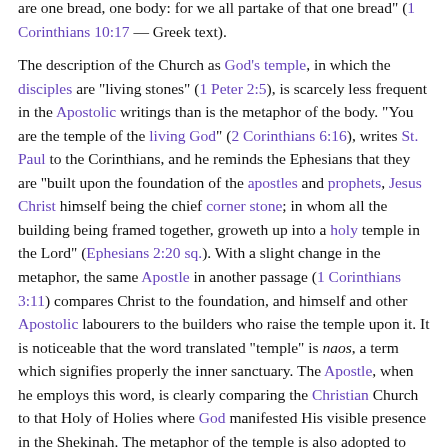are one bread, one body: for we all partake of that one bread" (1 Corinthians 10:17 — Greek text).
The description of the Church as God's temple, in which the disciples are "living stones" (1 Peter 2:5), is scarcely less frequent in the Apostolic writings than is the metaphor of the body. "You are the temple of the living God" (2 Corinthians 6:16), writes St. Paul to the Corinthians, and he reminds the Ephesians that they are "built upon the foundation of the apostles and prophets, Jesus Christ himself being the chief corner stone; in whom all the building being framed together, groweth up into a holy temple in the Lord" (Ephesians 2:20 sq.). With a slight change in the metaphor, the same Apostle in another passage (1 Corinthians 3:11) compares Christ to the foundation, and himself and other Apostolic labourers to the builders who raise the temple upon it. It is noticeable that the word translated "temple" is naos, a term which signifies properly the inner sanctuary. The Apostle, when he employs this word, is clearly comparing the Christian Church to that Holy of Holies where God manifested His visible presence in the Shekinah. The metaphor of the temple is also adopted to